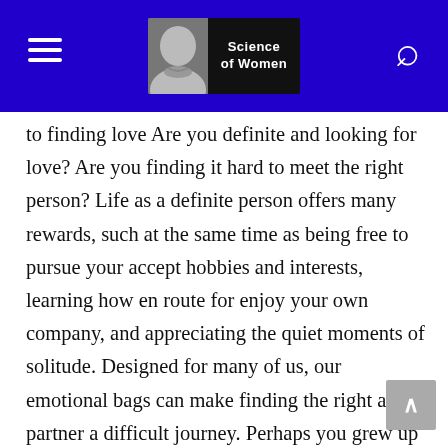Science of Women
to finding love Are you definite and looking for love? Are you finding it hard to meet the right person? Life as a definite person offers many rewards, such at the same time as being free to pursue your accept hobbies and interests, learning how en route for enjoy your own company, and appreciating the quiet moments of solitude. Designed for many of us, our emotional bags can make finding the right adore partner a difficult journey. Perhaps you grew up in a household anywhere there was no role model of a solid, healthy relationship and you doubt that such a thing constant exists. You could be attracted en route for the wrong type of person before keep making the same bad choices over and over, due to an unresolved issue from your past.